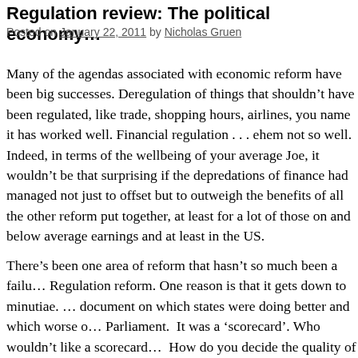Regulation review: The political economy…
Posted on January 22, 2011 by Nicholas Gruen
Many of the agendas associated with economic reform have been big successes. Deregulation of things that shouldn't have been regulated, like trade, shopping hours, airlines, you name it has worked well. Financial regulation . . . ehem not so well. Indeed, in terms of the wellbeing of your average Joe, it wouldn't be that surprising if the depredations of finance had managed not just to offset but to outweigh the benefits of all the other reform put together, at least for a lot of those on and below average earnings and at least in the US.
There's been one area of reform that hasn't so much been a failu… Regulation reform. One reason is that it gets down to minutiae. … document on which states were doing better and which worse o… Parliament. It was a 'scorecard'. Who wouldn't like a scorecard… How do you decide the quality of one state's 30,000 pages of re… Well you don't really, but you wave your arms around a lot and…